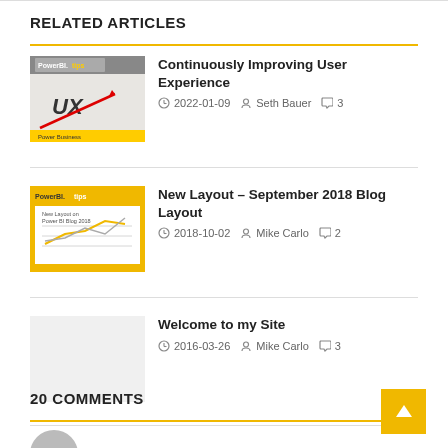RELATED ARTICLES
Continuously Improving User Experience | 2022-01-09 | Seth Bauer | 3 comments
New Layout – September 2018 Blog Layout | 2018-10-02 | Mike Carlo | 2 comments
Welcome to my Site | 2016-03-26 | Mike Carlo | 3 comments
20 COMMENTS
Marek says: